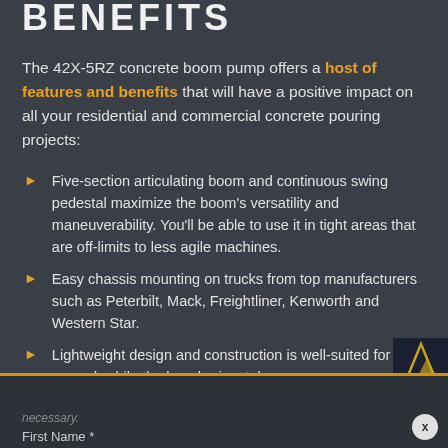BENEFITS
The 42X-5RZ concrete boom pump offers a host of features and benefits that will have a positive impact on all your residential and commercial concrete pouring projects:
Five-section articulating boom and continuous swing pedestal maximize the boom's versatility and maneuverability. You'll be able to use it in tight areas that are off-limits to less agile machines.
Easy chassis mounting on trucks from top manufacturers such as Peterbilt, Mack, Freightliner, Kenworth and Western Star.
Lightweight design and construction is well-suited for softer ground, while the long horizontal
necessary.
First Name *